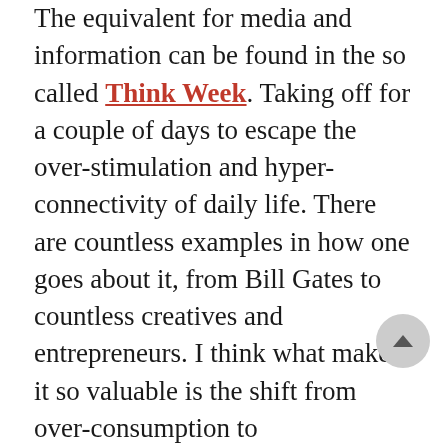The equivalent for media and information can be found in the so called Think Week. Taking off for a couple of days to escape the over-stimulation and hyper-connectivity of daily life. There are countless examples in how one goes about it, from Bill Gates to countless creatives and entrepreneurs. I think what makes it so valuable is the shift from over-consumption to contemplation and even production.
Taking time for reflecting on the things you read, watch and listen is essential for taking value out of them. Some works force you to do this, for example a philosophy book has this effect where you want to take breaks. This is a good thing. It means that your mind is working heavily on making sense of new information and connecting it with existing knowledge. So in this sense, some works are